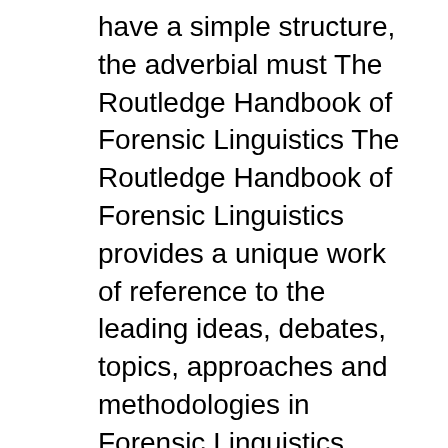have a simple structure, the adverbial must The Routledge Handbook of Forensic Linguistics The Routledge Handbook of Forensic Linguistics provides a unique work of reference to the leading ideas, debates, topics, approaches and methodologies in Forensic Linguistics. Forensic Linguistics is the study of ...
The RouTledge Companion To news and JouRnalism The Routledge Companion to News and Journalism presents an authoritative, First published 2010 by Routledge 2 Park Square, Milton Park, Abingdon, Oxon OX14 4RN simultaneously published in the usa and Canada by Routledge 270 Madison Ave,